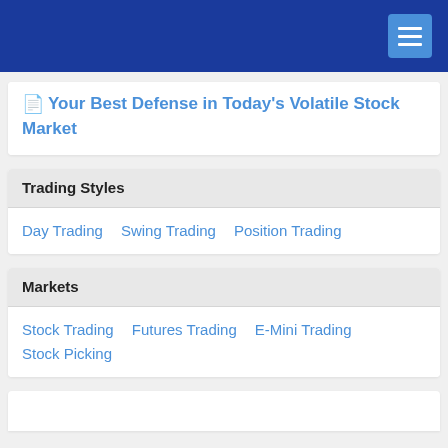Your Best Defense in Today's Volatile Stock Market
Trading Styles
Day Trading
Swing Trading
Position Trading
Markets
Stock Trading
Futures Trading
E-Mini Trading
Stock Picking